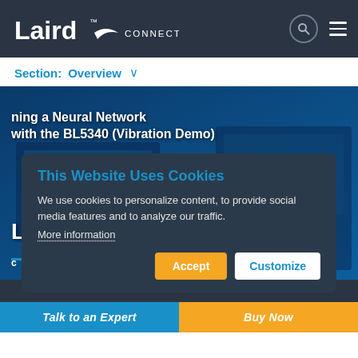[Figure (screenshot): Laird Connectivity website navigation bar with logo and search/menu icons]
Section:  Overview  ∨
[Figure (screenshot): YouTube-style video thumbnail showing 'ning a Neural Network with the BL5340 (Vibration Demo)' with red play button over electronics lab background]
[Figure (screenshot): Cookie consent modal overlay with title 'This Website Uses Cookies', body text, and Accept/Customize buttons]
Talk to an Expert
Buy Now